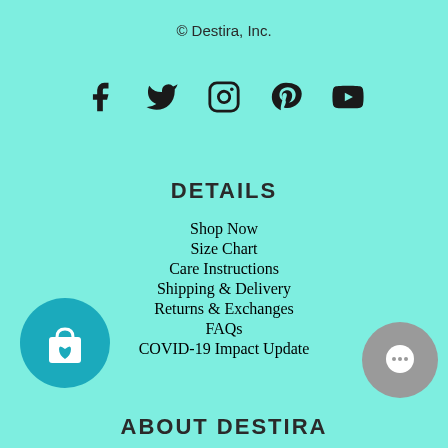© Destira, Inc.
[Figure (infographic): Social media icons: Facebook, Twitter, Instagram, Pinterest, YouTube]
DETAILS
Shop Now
Size Chart
Care Instructions
Shipping & Delivery
Returns & Exchanges
FAQs
COVID-19 Impact Update
[Figure (illustration): Teal circular shopping bag with heart icon button]
[Figure (illustration): Gray circular chat/messaging button with ellipsis]
ABOUT DESTIRA